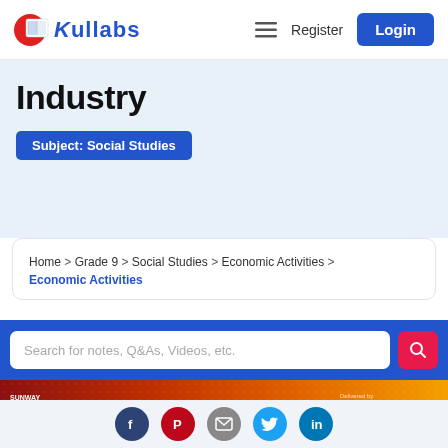[Figure (logo): KulLabs logo with book icon and blue text]
Register
Login
Industry
Subject: Social Studies
Home > Grade 9 > Social Studies > Economic Activities > Economic Activities
Search for notes, Q&As, Videos, etc.
[Figure (infographic): Sunway College advertisement: FREE 7 DAYS BOOTCAMP, Digital Marketing & Data Science, Delivered by Industry Experts, Prizes worth Rs. 10,000 (for 2), Join Learn & Kickstart your career]
[Figure (infographic): Social media icons row: Facebook, Pinterest, Mail, Twitter, LinkedIn]